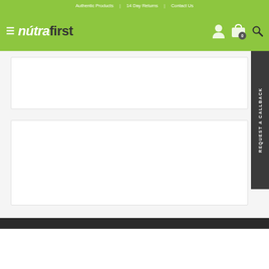Authentic Products | 14 Day Returns | Contact Us
[Figure (logo): Nutrafirst logo with hamburger menu icon, user icon, cart icon showing 0 items, and search icon on green navigation bar]
[Figure (other): Empty white card content area 1]
[Figure (other): Empty white card content area 2]
REQUEST A CALLBACK